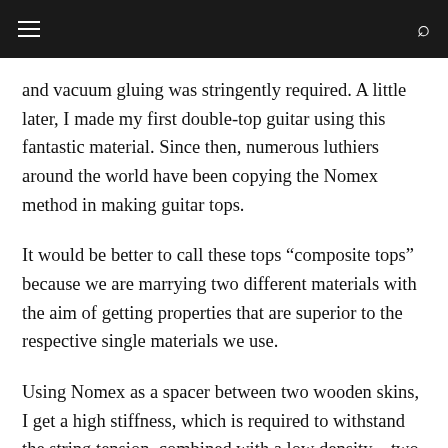≡  [search icon]
and vacuum gluing was stringently required. A little later, I made my first double-top guitar using this fantastic material. Since then, numerous luthiers around the world have been copying the Nomex method in making guitar tops.
It would be better to call these tops “composite tops” because we are marrying two different materials with the aim of getting properties that are superior to the respective single materials we use.
Using Nomex as a spacer between two wooden skins, I get a high stiffness, which is required to withstand the string tension, combined with a low density—two factors that enhance the amount of sound radiated from the